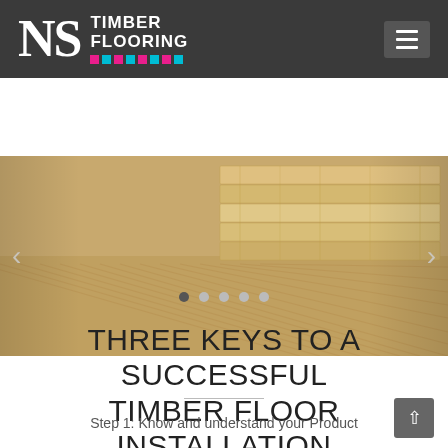NS Timber Flooring
[Figure (photo): Close-up photo of timber/wood flooring planks stacked and arranged, showing wood grain texture in warm beige and tan tones. Slider with left and right navigation arrows.]
THREE KEYS TO A SUCCESSFUL TIMBER FLOOR INSTALLATION
Step 1: Know and understand your Product